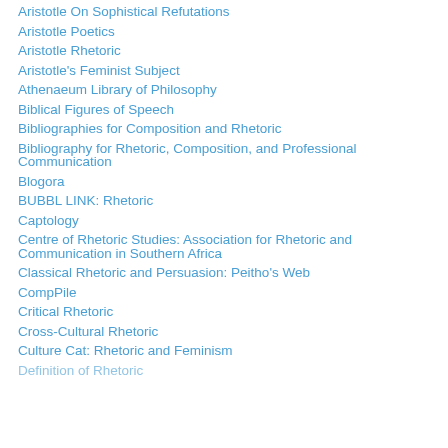Aristotle On Sophistical Refutations
Aristotle Poetics
Aristotle Rhetoric
Aristotle's Feminist Subject
Athenaeum Library of Philosophy
Biblical Figures of Speech
Bibliographies for Composition and Rhetoric
Bibliography for Rhetoric, Composition, and Professional Communication
Blogora
BUBBL LINK: Rhetoric
Captology
Centre of Rhetoric Studies: Association for Rhetoric and Communication in Southern Africa
Classical Rhetoric and Persuasion: Peitho's Web
CompPile
Critical Rhetoric
Cross-Cultural Rhetoric
Culture Cat: Rhetoric and Feminism
Definition of Rhetoric